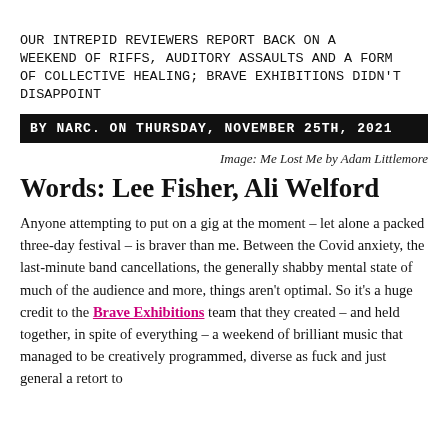OUR INTREPID REVIEWERS REPORT BACK ON A WEEKEND OF RIFFS, AUDITORY ASSAULTS AND A FORM OF COLLECTIVE HEALING; BRAVE EXHIBITIONS DIDN'T DISAPPOINT
BY NARC. ON THURSDAY, NOVEMBER 25TH, 2021
Image: Me Lost Me by Adam Littlemore
Words: Lee Fisher, Ali Welford
Anyone attempting to put on a gig at the moment – let alone a packed three-day festival – is braver than me. Between the Covid anxiety, the last-minute band cancellations, the generally shabby mental state of much of the audience and more, things aren't optimal. So it's a huge credit to the Brave Exhibitions team that they created – and held together, in spite of everything – a weekend of brilliant music that managed to be creatively programmed, diverse as fuck and just general a retort to